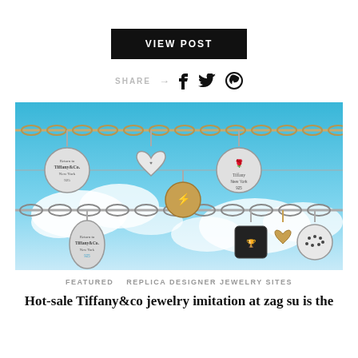VIEW POST
SHARE → f 🐦 ⓟ
[Figure (photo): Multiple Tiffany & Co. silver charm bracelets and necklaces with various pendants including heart tags, coin charms, and engraved discs, photographed against a bright blue sky with clouds.]
FEATURED   REPLICA DESIGNER JEWELRY SITES
Hot-sale Tiffany&co jewelry imitation at zag su is the